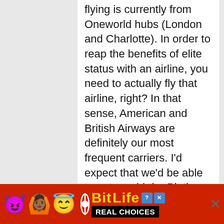flying is currently from Oneworld hubs (London and Charlotte). In order to reap the benefits of elite status with an airline, you need to actually fly that airline, right? In that sense, American and British Airways are definitely our most frequent carriers. I'd expect that we'd be able to get to mid-tier Platinum status with American, though getting much higher will be difficult with the spend and mileage requirements.

With Platinum status, we'd have
[Figure (infographic): Advertisement banner for BitLife mobile game. Red background with emoji characters (devil, person with hands up, angel), BitLife logo in yellow with question mark and X badges, and 'REAL CHOICES' text on black background. Close button (X) on right side.]